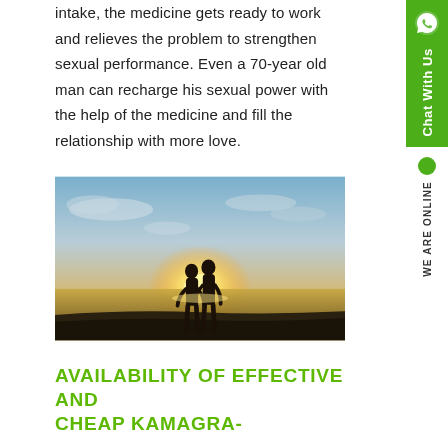intake, the medicine gets ready to work and relieves the problem to strengthen sexual performance. Even a 70-year old man can recharge his sexual power with the help of the medicine and fill the relationship with more love.
[Figure (photo): Silhouette of a couple about to kiss against a sunset over the ocean, romantic scene]
AVAILABILITY OF EFFECTIVE AND CHEAP KAMAGRA-